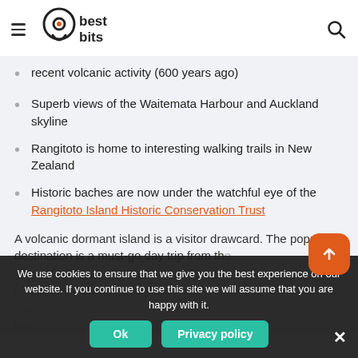best bits
recent volcanic activity (600 years ago)
Superb views of the Waitemata Harbour and Auckland skyline
Rangitoto is home to interesting walking trails in New Zealand
Historic baches are now under the watchful eye of the Rangitoto Island Historic Conservation Trust
A volcanic dormant island is a visitor drawcard. The popular destination is a must-go day trip from th...
We use cookies to ensure that we give you the best experience on our website. If you continue to use this site we will assume that you are happy with it.